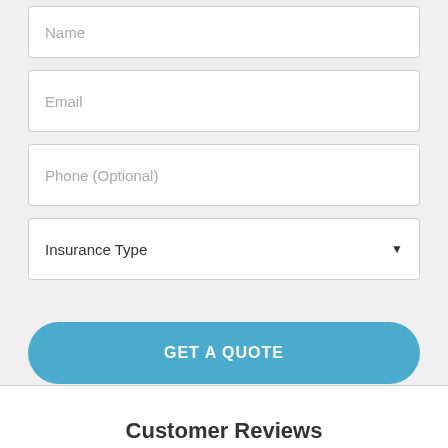Name
Email
Phone (Optional)
Insurance Type
GET A QUOTE
Customer Reviews